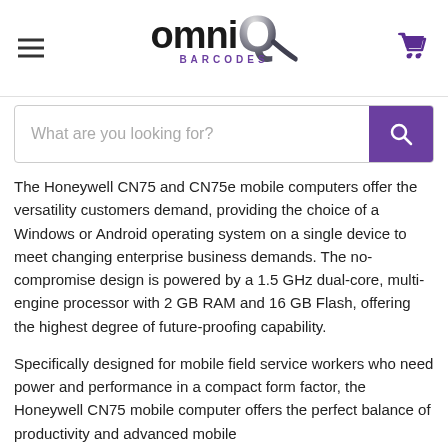[Figure (logo): omniQ BARCODES logo with stylized Q in silver/grey gradient]
What are you looking for?
The Honeywell CN75 and CN75e mobile computers offer the versatility customers demand, providing the choice of a Windows or Android operating system on a single device to meet changing enterprise business demands. The no-compromise design is powered by a 1.5 GHz dual-core, multi-engine processor with 2 GB RAM and 16 GB Flash, offering the highest degree of future-proofing capability.
Specifically designed for mobile field service workers who need power and performance in a compact form factor, the Honeywell CN75 mobile computer offers the perfect balance of productivity and advanced mobile...